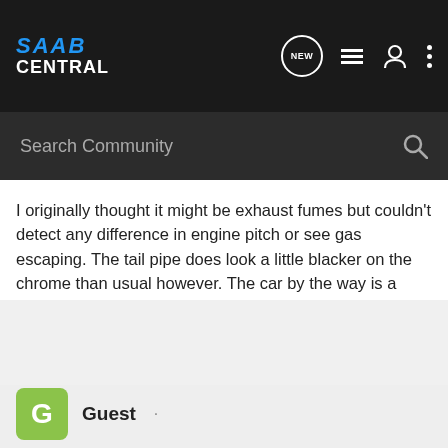SAAB CENTRAL
Search Community
I originally thought it might be exhaust fumes but couldn't detect any difference in engine pitch or see gas escaping. The tail pipe does look a little blacker on the chrome than usual however. The car by the way is a 2001 2.3 SE auto.
Guest ·
#5 · May 16, 2005
David, Chris is right you shouldnt really drive a car if it has a